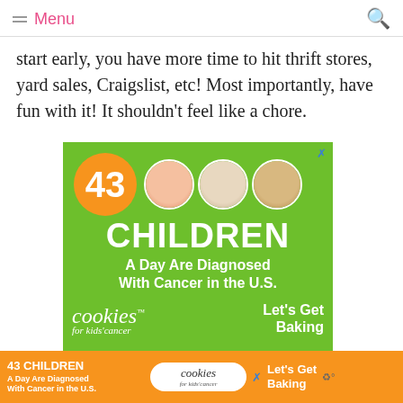Menu
start early, you have more time to hit thrift stores, yard sales, Craigslist, etc! Most importantly, have fun with it! It shouldn't feel like a chore.
[Figure (illustration): Advertisement for Cookies for Kids' Cancer: green background with '43 CHILDREN A Day Are Diagnosed With Cancer in the U.S.' and cookies brand logo with 'Let's Get Baking']
[Figure (illustration): Sticky bottom ad bar repeating the 43 Children / Cookies for Kids' Cancer message with orange background]